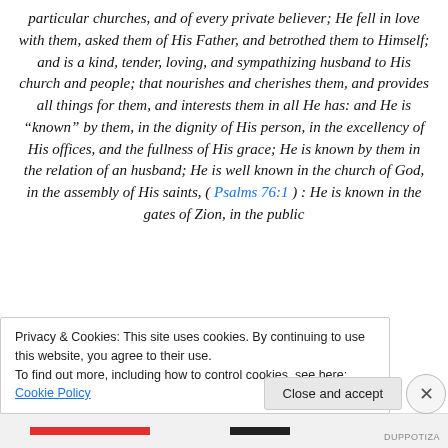particular churches, and of every private believer; He fell in love with them, asked them of His Father, and betrothed them to Himself; and is a kind, tender, loving, and sympathizing husband to His church and people; that nourishes and cherishes them, and provides all things for them, and interests them in all He has: and He is “known” by them, in the dignity of His person, in the excellency of His offices, and the fullness of His grace; He is known by them in the relation of an husband; He is well known in the church of God, in the assembly of His saints, ( Psalms 76:1 ) : He is known in the gates of Zion, in the public
Privacy & Cookies: This site uses cookies. By continuing to use this website, you agree to their use.
To find out more, including how to control cookies, see here: Cookie Policy
Close and accept